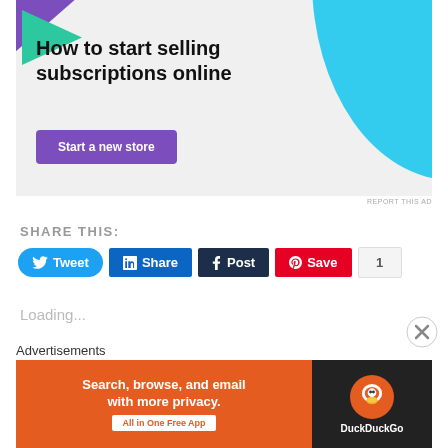[Figure (screenshot): Advertisement banner with purple and green decorative shapes, large blue circle on right. Text: 'How to start selling subscriptions online' with a purple 'Start a new store' button on grey background.]
REPORT THIS AD
SHARE THIS:
[Figure (screenshot): Social share buttons row: Tweet (blue, Twitter bird icon), Share (LinkedIn blue), Post (Tumblr dark), Save (Pinterest red), count badge showing 1]
Loading...
Advertisements
[Figure (screenshot): DuckDuckGo advertisement: orange left panel 'Search, browse, and email with more privacy. All in One Free App', dark right panel with DuckDuckGo duck logo and text 'DuckDuckGo']